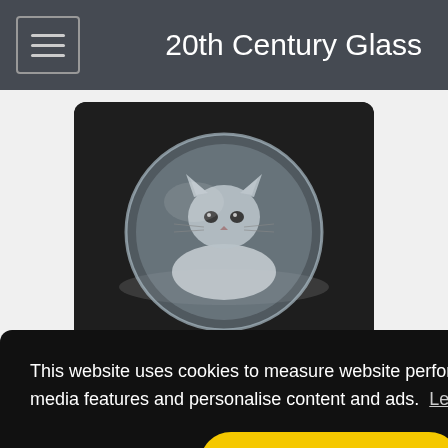20th Century Glass
[Figure (photo): Glass paperweight sculpture of a cat sitting in a circular crystal disc, photographed on a dark background]
Mats Jonasson #9176 Glass Paperweight Cat Sculpture - Signed
This website uses cookies to measure website performance, provide social media features and personalise content and ads.  Learn more
Got it!